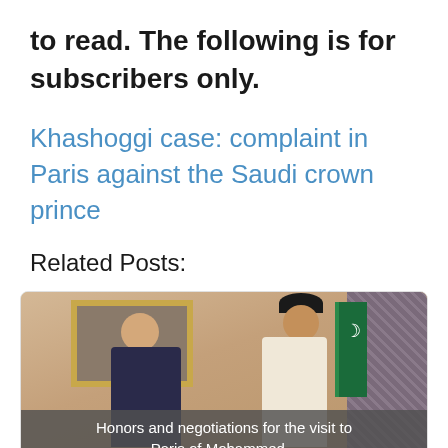to read. The following is for subscribers only.
Khashoggi case: complaint in Paris against the Saudi crown prince
Related Posts:
[Figure (photo): Two men in formal attire shaking hands or conversing — one in a dark suit, one in traditional Saudi dress — with a gold-framed painting and Saudi flag in the background.]
Honors and negotiations for the visit to Paris of Mohammed...